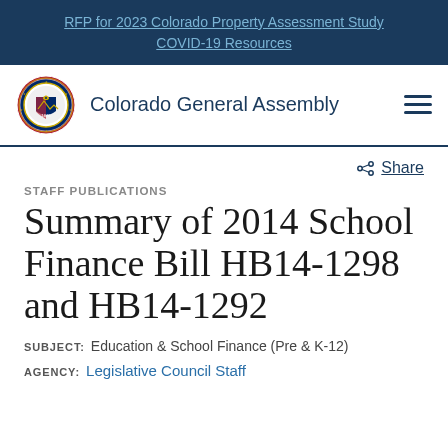RFP for 2023 Colorado Property Assessment Study
COVID-19 Resources
Colorado General Assembly
Share
STAFF PUBLICATIONS
Summary of 2014 School Finance Bill HB14-1298 and HB14-1292
SUBJECT: Education & School Finance (Pre & K-12)
AGENCY: Legislative Council Staff